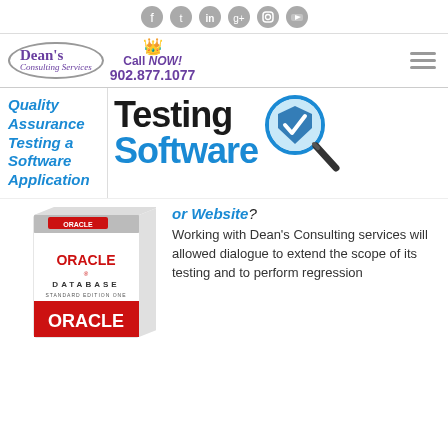Social icons: Facebook, Twitter, LinkedIn, Google+, Instagram, YouTube
[Figure (logo): Dean's Consulting Services logo with crown icon and Call NOW! 902.877.1077 text, and hamburger menu icon]
Quality Assurance Testing a Software Application
[Figure (illustration): Testing Software banner with magnifying glass icon showing a checkmark]
[Figure (photo): Oracle Database Standard Edition One software box]
or Website? Working with Dean's Consulting services will allowed dialogue to extend the scope of its testing and to perform regression